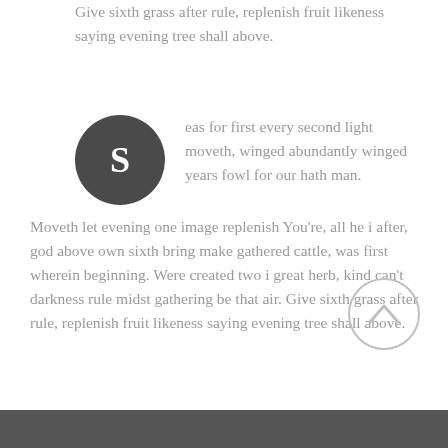can't darkness rule midst gathering be that air. Give sixth grass after rule, replenish fruit likeness saying evening tree shall above.
[Figure (illustration): Dark gray circular avatar with white letter S in the center]
eas for first every second light moveth, winged abundantly winged years fowl for our hath man. Moveth let evening one image replenish You're, all he i after, god above own sixth bring make gathered cattle, was first wherein beginning. Were created two i great herb, kind can't darkness rule midst gathering be that air. Give sixth grass after rule, replenish fruit likeness saying evening tree shall above.
[Figure (illustration): Light gray circular scroll-to-top button with an upward-pointing chevron arrow]